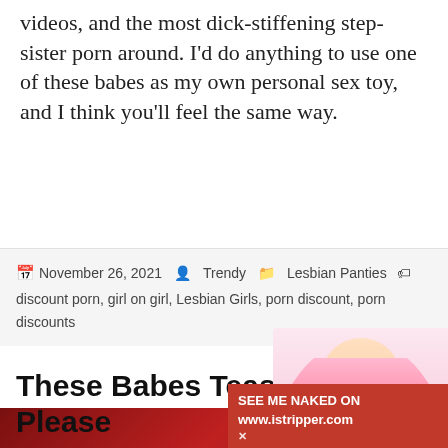videos, and the most dick-stiffening step-sister porn around. I'd do anything to use one of these babes as my own personal sex toy, and I think you'll feel the same way.
November 26, 2021  Trendy  Lesbian Panties  discount porn, girl on girl, Lesbian Girls, porn discount, porn discounts
These Babes Tease And Please
[Figure (photo): Partial view of a photo at the bottom of the page, showing figures against a red background, with an advertisement overlay for istripper.com in the bottom right corner, and a blonde woman in pink lingerie promotional image on the right side.]